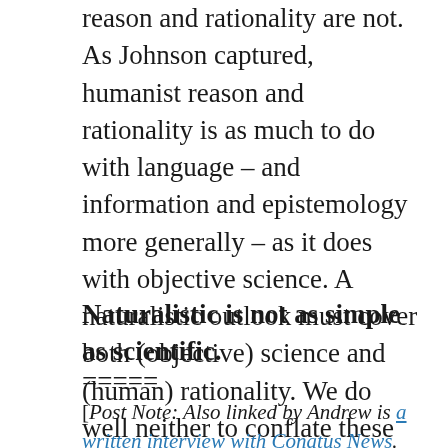reason and rationality are not. As Johnson captured, humanist reason and rationality is as much to do with language – and information and epistemology more generally – as it does with objective science. A naturalistic outlook must cover both (objective) science and (human) rationality. We do well neither to conflate these nor reduce one to the other.
Naturalistic is not as simple as scientific.
=====
[Post Note: Also linked by Andrew is a written interview with Conatus News. (Hat tip to Terry Waites for sharing.)]